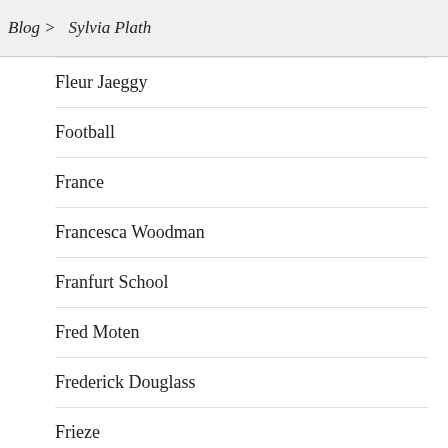Blog > Sylvia Plath
Fleur Jaeggy
Football
France
Francesca Woodman
Franfurt School
Fred Moten
Frederick Douglass
Frieze
FT
Gary Younge
Geoff Dyer